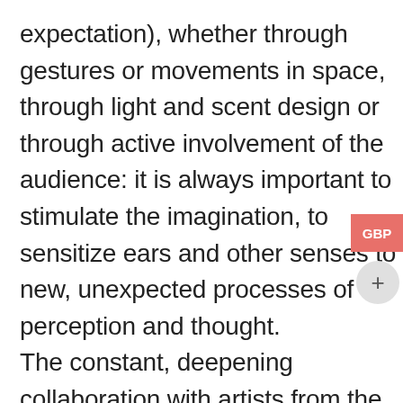expectation), whether through gestures or movements in space, through light and scent design or through active involvement of the audience: it is always important to stimulate the imagination, to sensitize ears and other senses to new, unexpected processes of perception and thought.
The constant, deepening collaboration with artists from the fields of visual arts, video, literature and dance is therefore an essential characteristic of his work.
Stäbler is one of the outstanding composers of his generation: in the last decade, premieres and first performances have taken place in Argentina, Germany, Great Britain, Iceland